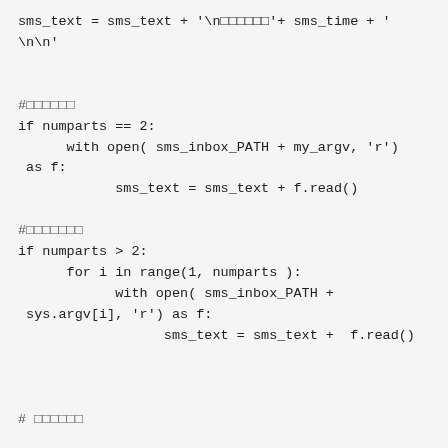sms_text = sms_text + '\n□□□□□□'+ sms_time + '\n\n'


#□□□□□□
if numparts == 2:
      with open( sms_inbox_PATH + my_argv, 'r') as f:
            sms_text = sms_text + f.read()

#□□□□□□□
if numparts > 2:
      for i in range(1, numparts ):
            with open( sms_inbox_PATH + sys.argv[i], 'r') as f:
                  sms_text = sms_text +  f.read()



# □□□□□□